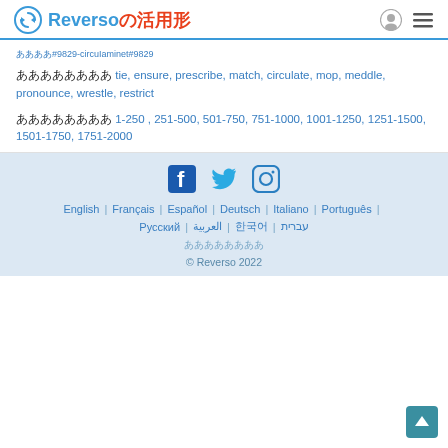Reverso の活用形
ああああああああ tie, ensure, prescribe, match, circulate, mop, meddle, pronounce, wrestle, restrict
ああああああああ 1-250 , 251-500, 501-750, 751-1000, 1001-1250, 1251-1500, 1501-1750, 1751-2000
English | Français | Español | Deutsch | Italiano | Português | Русский | العربية | 한국어 | עברית | ああああああああ | © Reverso 2022